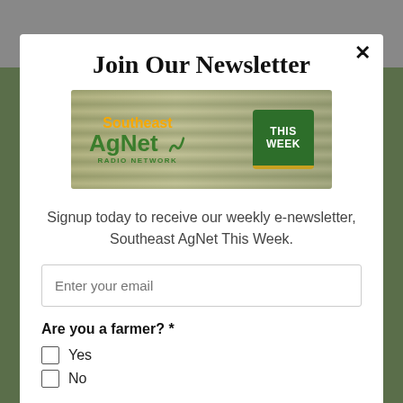Join Our Newsletter
[Figure (logo): Southeast AgNet Radio Network – This Week logo banner with agricultural field background]
Signup today to receive our weekly e-newsletter, Southeast AgNet This Week.
Enter your email
Are you a farmer? *
Yes
No